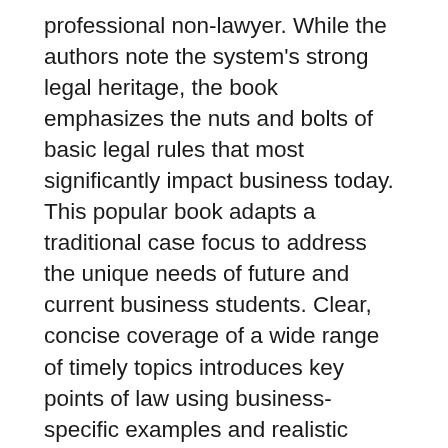professional non-lawyer. While the authors note the system's strong legal heritage, the book emphasizes the nuts and bolts of basic legal rules that most significantly impact business today. This popular book adapts a traditional case focus to address the unique needs of future and current business students. Clear, concise coverage of a wide range of timely topics introduces key points of law using business-specific examples and realistic scenarios. The authors' readable style complements their extensive knowledge of domestic and international business to make this book a favorite among both professionals and learners new to the legal environment. Important Notice: Media content referenced within the product description or the product text may not be